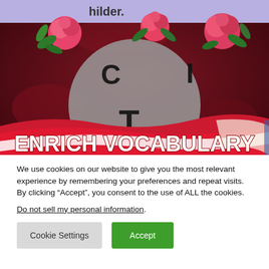[Figure (screenshot): Screenshot of a vocabulary app showing letter tiles C, I, T on a dark rose/floral background with decorative roses. Bottom portion shows a red banner with white bold text 'ENRICH VOCABULARY'. Top has a light purple bar partially visible with text 'hilder.' A large gray circle is in the center with letters C, T, I.]
We use cookies on our website to give you the most relevant experience by remembering your preferences and repeat visits. By clicking “Accept”, you consent to the use of ALL the cookies.
Do not sell my personal information.